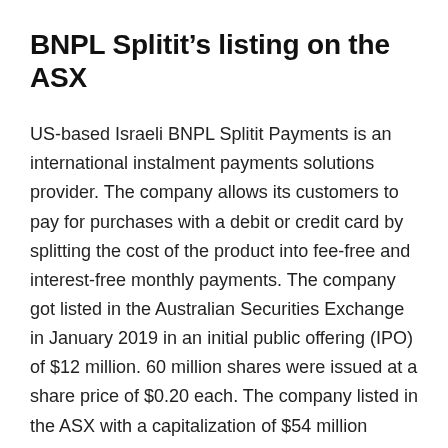BNPL Splitit's listing on the ASX
US-based Israeli BNPL Splitit Payments is an international instalment payments solutions provider. The company allows its customers to pay for purchases with a debit or credit card by splitting the cost of the product into fee-free and interest-free monthly payments. The company got listed in the Australian Securities Exchange in January 2019 in an initial public offering (IPO) of $12 million. 60 million shares were issued at a share price of $0.20 each. The company listed in the ASX with a capitalization of $54 million
According to a statement provided to the ASX, BNPL